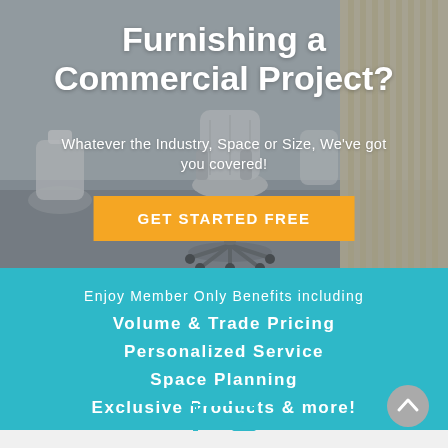[Figure (photo): Background photo of an office environment with white chairs and a rolling office chair on a grey floor, with vertical wooden slat partition on the right side.]
Furnishing a Commercial Project?
Whatever the Industry, Space or Size, We've got you covered!
GET STARTED FREE
Enjoy Member Only Benefits including
Volume & Trade Pricing
Personalized Service
Space Planning
Exclusive Products & more!
[Figure (illustration): Teal line-art icon of a desk with drawers]
[Figure (illustration): Grey circular back-to-top arrow button]